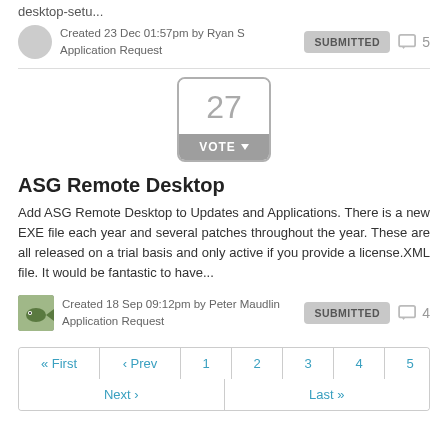desktop-setu...
Created 23 Dec 01:57pm by Ryan S
Application Request
SUBMITTED
5
[Figure (other): Vote box showing number 27 with a VOTE button below]
ASG Remote Desktop
Add ASG Remote Desktop to Updates and Applications. There is a new EXE file each year and several patches throughout the year. These are all released on a trial basis and only active if you provide a license.XML file. It would be fantastic to have...
Created 18 Sep 09:12pm by Peter Maudlin
Application Request
SUBMITTED
4
« First  ‹ Prev  1  2  3  4  5  6  7  ...  Next ›  Last »